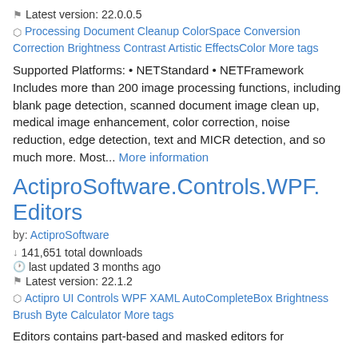Latest version: 22.0.0.5
Processing Document Cleanup ColorSpace Conversion Correction Brightness Contrast Artistic EffectsColor More tags
Supported Platforms: • NETStandard • NETFramework Includes more than 200 image processing functions, including blank page detection, scanned document image clean up, medical image enhancement, color correction, noise reduction, edge detection, text and MICR detection, and so much more. Most... More information
ActiproSoftware.Controls.WPF.Editors
by: ActiproSoftware
141,651 total downloads
last updated 3 months ago
Latest version: 22.1.2
Actipro UI Controls WPF XAML AutoCompleteBox Brightness Brush Byte Calculator More tags
Editors contains part-based and masked editors for